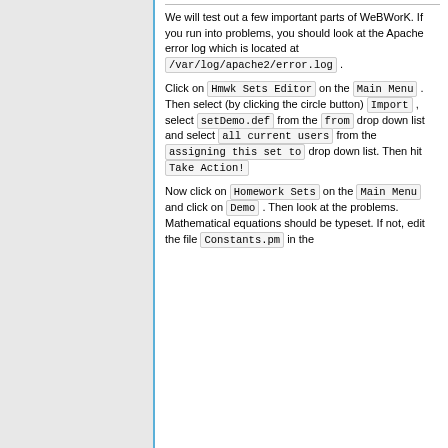We will test out a few important parts of WeBWorK. If you run into problems, you should look at the Apache error log which is located at /var/log/apache2/error.log .
Click on Hmwk Sets Editor on the Main Menu . Then select (by clicking the circle button) Import , select setDemo.def from the from drop down list and select all current users from the assigning this set to drop down list. Then hit Take Action!
Now click on Homework Sets on the Main Menu and click on Demo . Then look at the problems. Mathematical equations should be typeset. If not, edit the file Constants.pm in the